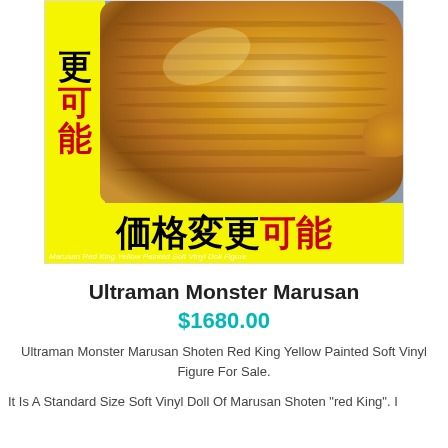[Figure (photo): Photo of an Ultraman Monster Marusan Shoten Red King Yellow Painted Soft Vinyl Figure. The figure is golden/amber colored with segmented texture. Background is yellow with Japanese characters '更可能' in black and red on the left side panel, and a bottom yellow banner reading '価格変更可能' in black and red text. Watermark text visible at bottom.]
Ultraman Monster Marusan
$1680.00
Ultraman Monster Marusan Shoten Red King Yellow Painted Soft Vinyl Figure For Sale.
It Is A Standard Size Soft Vinyl Doll Of Marusan Shoten "red King". I